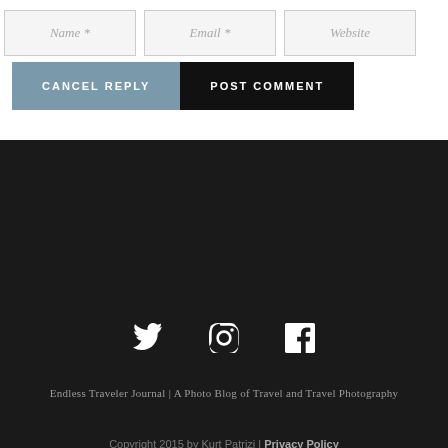[Figure (screenshot): Form input fields for Name, Email, Website with placeholder text, and two buttons: CANCEL REPLY and POST COMMENT]
[Figure (illustration): Three social media icons: Twitter bird, Instagram camera, Facebook f — displayed in white on dark background]
Endless Traveler Journal | A Photo Blog of Travel and Travel Photography
Copyright 2015 by Kurt Patrizi | Privacy Policy
Website Powered by Maurice Design LLC